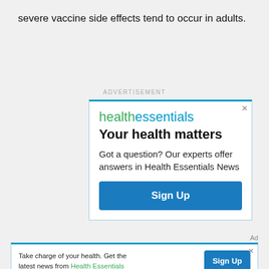severe vaccine side effects tend to occur in adults.
ADVERTISEMENT
[Figure (other): Health Essentials advertisement box with logo, headline 'Your health matters', body text 'Got a question? Our experts offer answers in Health Essentials News', and a 'Sign Up' button.]
Ad
[Figure (other): Bottom banner ad: 'Take charge of your health. Get the latest news from Health Essentials' with a 'Sign Up' button.]